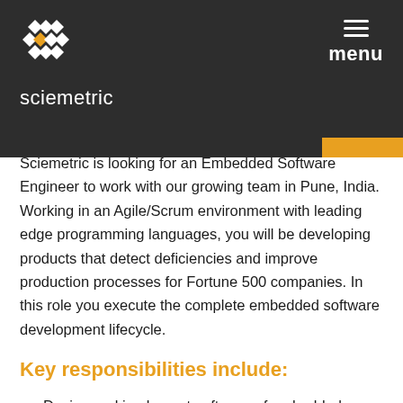[Figure (logo): Sciemetric logo with diamond pattern and company name in white text on dark background, with menu hamburger icon and 'menu' label in top right]
Sciemetric is looking for an Embedded Software Engineer to work with our growing team in Pune, India. Working in an Agile/Scrum environment with leading edge programming languages, you will be developing products that detect deficiencies and improve production processes for Fortune 500 companies. In this role you execute the complete embedded software development lifecycle.
Key responsibilities include:
Design and implement software of embedded devices and systems from requirements to production and